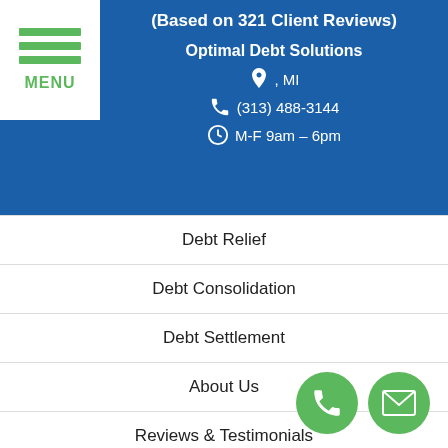(Based on 321 Client Reviews)
Optimal Debt Solutions
, MI
(313) 488-3144
M-F 9am – 6pm
Debt Relief
Debt Consolidation
Debt Settlement
About Us
Reviews & Testimonials
Debt Relief Locations
Debt Settlement Locations
[Figure (illustration): Green hamburger menu icon with three horizontal bars and MENU label below]
[Figure (illustration): Two floating circular green buttons: phone icon and email/envelope icon]